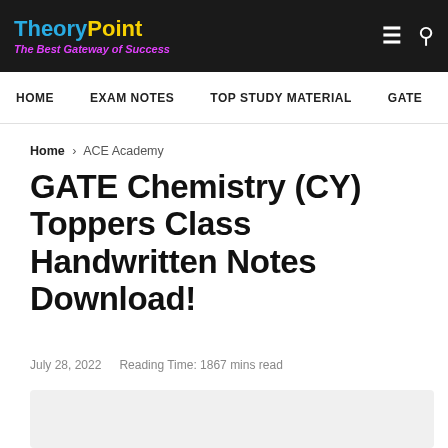TheoryPoint – The Best Gateway of Success
HOME   EXAM NOTES   TOP STUDY MATERIAL   GATE
Home › ACE Academy
GATE Chemistry (CY) Toppers Class Handwritten Notes Download!
July 28, 2022   Reading Time: 1867 mins read
[Figure (other): Light grey content placeholder box]